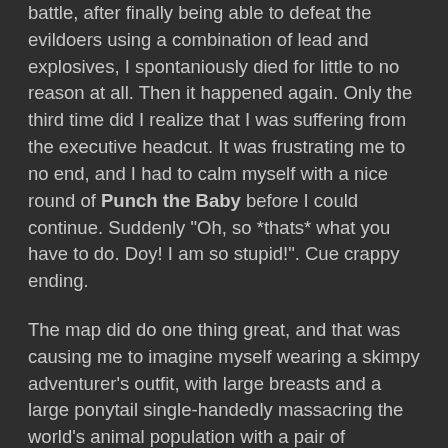battle, after finally being able to defeat the evildoers using a combination of lead and explosives, I spontaniously died for little to no reason at all. Then it happened again. Only the third time did I realize that I was suffering from the executive headcut. It was frustrating me to no end, and I had to calm myself with a nice round of Punch the Baby before I could continue. Suddenly "Oh, so *thats* what you have to do. Doy! I am so stupid!". Cue crappy ending.
The map did do one thing great, and that was causing me to imagine myself wearing a skimpy adventurer's outfit, with large breasts and a large ponytail single-handedly massacring the world's animal population with a pair of handguns with infinite ammunition. The textures and architecture is beautiful, and even makes most source maps look like crap.